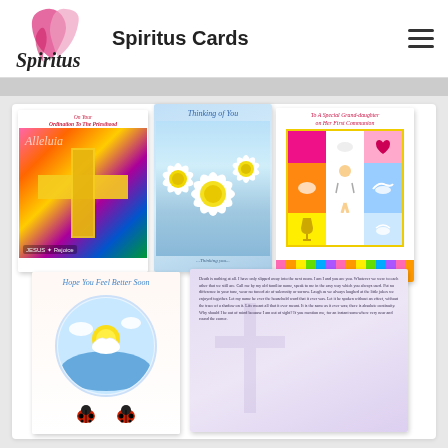Spiritus Cards
[Figure (screenshot): Grid of five greeting cards: Ordination to the Priesthood card with colorful cross and Alleluia text, Thinking of You card with white daisies, To A Special Grand-daughter on Her First Communion card with illustrated girl, Hope You Feel Better Soon card with circular nature scene and ladybugs, and a sympathy/faith card with cross and scripture text.]